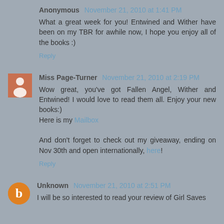Anonymous November 21, 2010 at 1:41 PM
What a great week for you! Entwined and Wither have been on my TBR for awhile now, I hope you enjoy all of the books :)
Reply
Miss Page-Turner November 21, 2010 at 2:19 PM
Wow great, you've got Fallen Angel, Wither and Entwined! I would love to read them all. Enjoy your new books:) Here is my Mailbox

And don't forget to check out my giveaway, ending on Nov 30th and open internationally, here!
Reply
Unknown November 21, 2010 at 2:51 PM
I will be so interested to read your review of Girl Saves